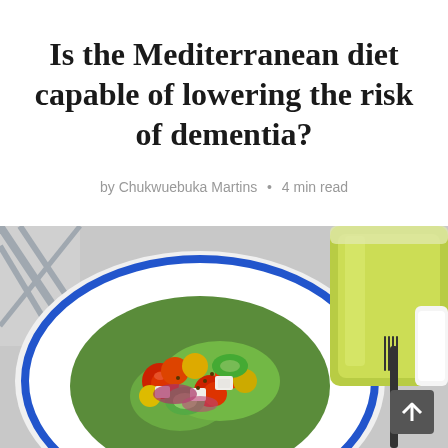Is the Mediterranean diet capable of lowering the risk of dementia?
by Chukwuebuka Martins • 4 min read
[Figure (photo): Overhead photo of a Mediterranean salad with tomatoes, cucumbers, feta cheese, and red onions on a white plate with blue rim, alongside a glass of green olive oil and a fork, on a gray surface with a checkered cloth.]